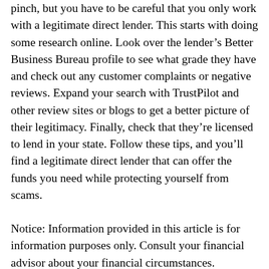pinch, but you have to be careful that you only work with a legitimate direct lender. This starts with doing some research online. Look over the lender's Better Business Bureau profile to see what grade they have and check out any customer complaints or negative reviews. Expand your search with TrustPilot and other review sites or blogs to get a better picture of their legitimacy. Finally, check that they're licensed to lend in your state. Follow these tips, and you'll find a legitimate direct lender that can offer the funds you need while protecting yourself from scams.
Notice: Information provided in this article is for information purposes only. Consult your financial advisor about your financial circumstances.